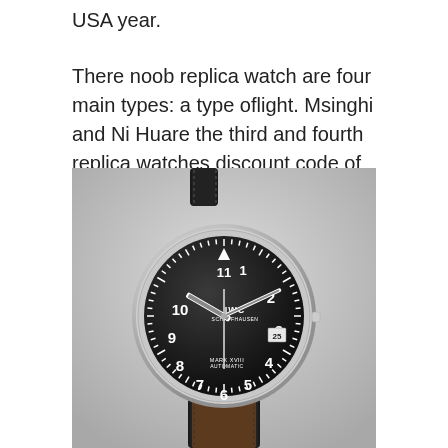USA year.
There noob replica watch are four main types: a type oflight. Msinghi and Ni Huare the third and fourth replica watches discount code of the
[Figure (photo): IWC Schaffhausen Mark XVIII Automatic pilot watch with black dial, white Arabic numerals, luminous hands, black leather strap with stitching, and stainless steel case. Date window at 3 o'clock showing 25.]